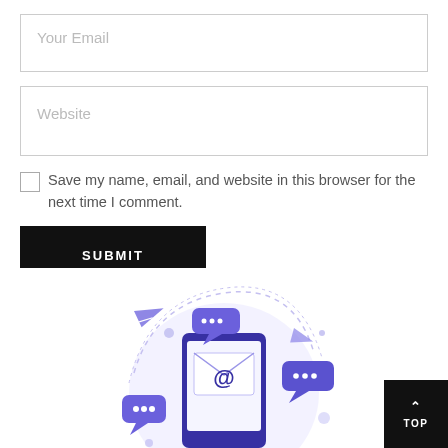Your Email
Website
Save my name, email, and website in this browser for the next time I comment.
SUBMIT
[Figure (illustration): Email marketing illustration showing a smartphone with an envelope/at-sign, speech bubbles with dots, paper plane, and decorative circles in purple and blue tones]
TOP